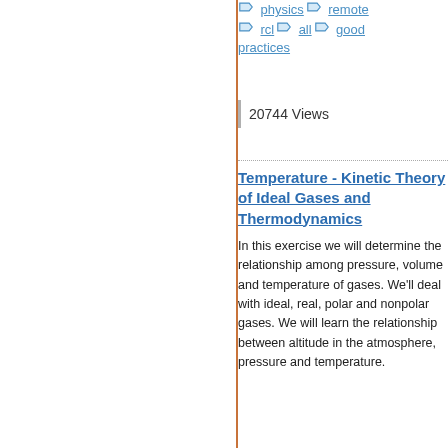physics   remote   rcl   all   good practices
20744 Views
Temperature - Kinetic Theory of Ideal Gases and Thermodynamics
In this exercise we will determine the relationship among pressure, volume and temperature of gases. We'll deal with ideal, real, polar and nonpolar gases. We will learn the relationship between altitude in the atmosphere, pressure and temperature.